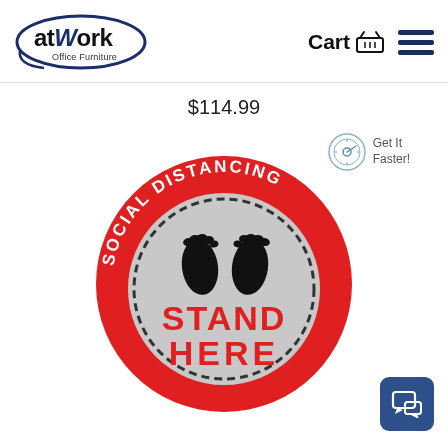[Figure (logo): atWork Office Furniture logo — oval shape with 'atWork' in large text and 'Office Furniture' below, navy blue oval outline]
Cart 🛒  ☰
$114.99
[Figure (photo): Social distancing floor sticker — circular red sticker with 'SOCIAL DISTANCING' text along the top arc, grey inner circle with dashed border, two black footprint outlines, and bold red text 'STAND HERE' in the center]
Get It Faster!